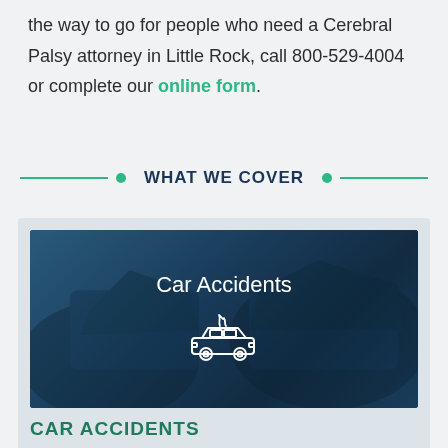the way to go for people who need a Cerebral Palsy attorney in Little Rock, call 800-529-4004 or complete our online form.
WHAT WE COVER
[Figure (photo): Dark blue tinted photo of a wrecked car with white text 'Car Accidents' and a car icon with flames above it]
CAR ACCIDENTS